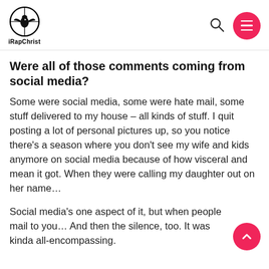iRapChrist
Were all of those comments coming from social media?
Some were social media, some were hate mail, some stuff delivered to my house – all kinds of stuff. I quit posting a lot of personal pictures up, so you notice there's a season where you don't see my wife and kids anymore on social media because of how visceral and mean it got. When they were calling my daughter out on her name…
Social media's one aspect of it, but when people mail to you… And then the silence, too. It was kinda all-encompassing.